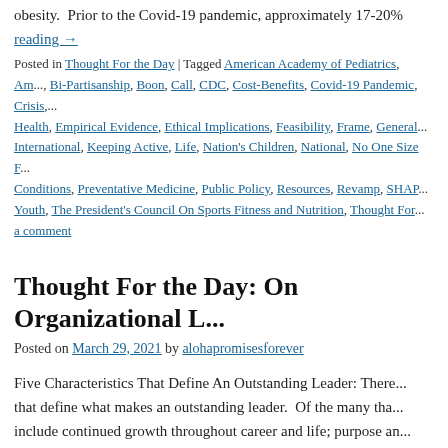obesity.  Prior to the Covid-19 pandemic, approximately 17-20%...
reading →
Posted in Thought For the Day | Tagged American Academy of Pediatrics, Am..., Bi-Partisanship, Boon, Call, CDC, Cost-Benefits, Covid-19 Pandemic, Crisis,... Health, Empirical Evidence, Ethical Implications, Feasibility, Frame, General... International, Keeping Active, Life, Nation's Children, National, No One Size F... Conditions, Preventative Medicine, Public Policy, Resources, Revamp, SHAP... Youth, The President's Council On Sports Fitness and Nutrition, Thought For... a comment
Thought For the Day: On Organizational L...
Posted on March 29, 2021 by alohapromisesforever
Five Characteristics That Define An Outstanding Leader: There... that define what makes an outstanding leader.  Of the many tha... include continued growth throughout career and life; purpose an...
Posted in Thought For the Day | Tagged 21st Century, Accomplish, Agreemen... Boundless, Brutal Truth, Career, Change, Characteristics, Charisma, Collabo... Contextual Factors, Controversial, Cope, Crisis, Cultivation, Data Crunching,... Discipline, Downfall, Employee Diversity, Flexibility, Ghandi, Goals, Growth...